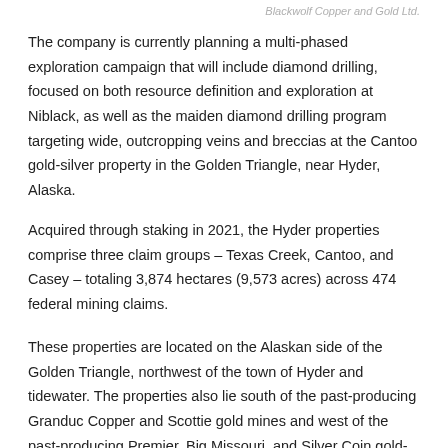Blackwolf Copper and Gold Ltd.
The company is currently planning a multi-phased exploration campaign that will include diamond drilling, focused on both resource definition and exploration at Niblack, as well as the maiden diamond drilling program targeting wide, outcropping veins and breccias at the Cantoo gold-silver property in the Golden Triangle, near Hyder, Alaska.
Acquired through staking in 2021, the Hyder properties comprise three claim groups – Texas Creek, Cantoo, and Casey – totaling 3,874 hectares (9,573 acres) across 474 federal mining claims.
These properties are located on the Alaskan side of the Golden Triangle, northwest of the town of Hyder and tidewater. The properties also lie south of the past-producing Granduc Copper and Scottie gold mines and west of the past-producing Premier, Big Missouri, and Silver Coin gold-silver